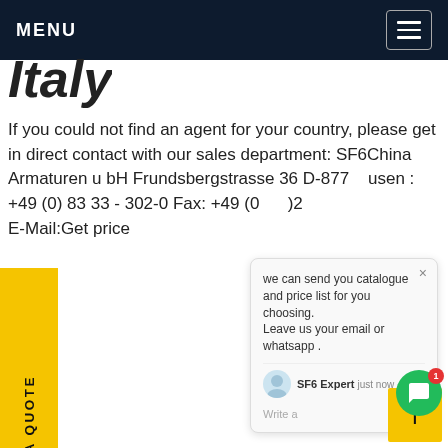MENU
Italy
If you could not find an agent for your country, please get in direct contact with our sales department: SF6China Armaturen u bH Frundsbergstrasse 36 D-877 usen : +49 (0) 83 33 - 302-0 Fax: +49 (0 )2 E-Mail:Get price
REQUEST A QUOTE
we can send you catalogue and price list for you choosing. Leave us your email or whatsapp .
SF6 Expert   just now
Write a